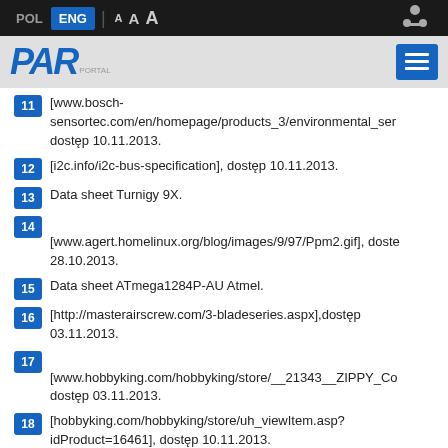POL ENG A A A
[Figure (logo): PAR logo in blue italic text with navigation menu button]
11 [www.bosch-sensortec.com/en/homepage/products_3/environmental_ser dostęp 10.11.2013.
12 [i2c.info/i2c-bus-specification], dostęp 10.11.2013.
13 Data sheet Turnigy 9X.
14 [www.agert.homelinux.org/blog/images/9/97/Ppm2.gif], dostę 28.10.2013.
15 Data sheet ATmega1284P-AU Atmel.
16 [http://masterairscrew.com/3-bladeseries.aspx],dostęp 03.11.2013.
17 [www.hobbyking.com/hobbyking/store/__21343__ZIPPY_Co dostęp 03.11.2013.
18 [hobbyking.com/hobbyking/store/uh_viewItem.asp? idProduct=16461], dostęp 10.11.2013.